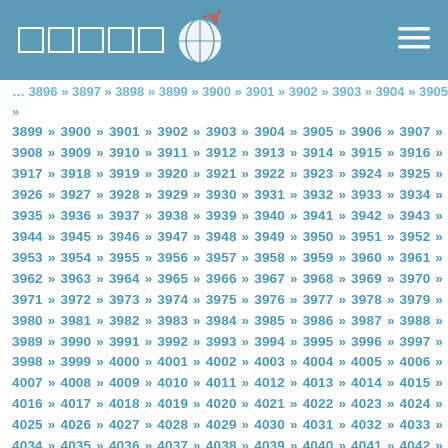□□□□□ [globe logo] [menu icon]
3899 » 3900 » 3901 » 3902 » 3903 » 3904 » 3905 » 3906 » 3907 » 3908 » 3909 » 3910 » 3911 » 3912 » 3913 » 3914 » 3915 » 3916 » 3917 » 3918 » 3919 » 3920 » 3921 » 3922 » 3923 » 3924 » 3925 » 3926 » 3927 » 3928 » 3929 » 3930 » 3931 » 3932 » 3933 » 3934 » 3935 » 3936 » 3937 » 3938 » 3939 » 3940 » 3941 » 3942 » 3943 » 3944 » 3945 » 3946 » 3947 » 3948 » 3949 » 3950 » 3951 » 3952 » 3953 » 3954 » 3955 » 3956 » 3957 » 3958 » 3959 » 3960 » 3961 » 3962 » 3963 » 3964 » 3965 » 3966 » 3967 » 3968 » 3969 » 3970 » 3971 » 3972 » 3973 » 3974 » 3975 » 3976 » 3977 » 3978 » 3979 » 3980 » 3981 » 3982 » 3983 » 3984 » 3985 » 3986 » 3987 » 3988 » 3989 » 3990 » 3991 » 3992 » 3993 » 3994 » 3995 » 3996 » 3997 » 3998 » 3999 » 4000 » 4001 » 4002 » 4003 » 4004 » 4005 » 4006 » 4007 » 4008 » 4009 » 4010 » 4011 » 4012 » 4013 » 4014 » 4015 » 4016 » 4017 » 4018 » 4019 » 4020 » 4021 » 4022 » 4023 » 4024 » 4025 » 4026 » 4027 » 4028 » 4029 » 4030 » 4031 » 4032 » 4033 » 4034 » 4035 » 4036 » 4037 » 4038 » 4039 » 4040 » 4041 » 4042 » 4043 » 4044 » 4045 » 4046 » 4047 » 4048 » 4049 » 4050 » 4051 » 4052 » 4053 » 4054 » 4055 » 4056 » 4057 » 4058 » 4059 » 4060 » 4061 » 4062 » 4063 » 4064 » 4065 » 4066 » 4067 » 4068 » 4069 » 4070 » 4071 » 4072 » 4073 » 4074 » 4075 » 4076 » 4077 » 4078 » 4079 » 4080 » 4081 » 4082 » 4083 » 4084 » 4085 » 4086 » 4087